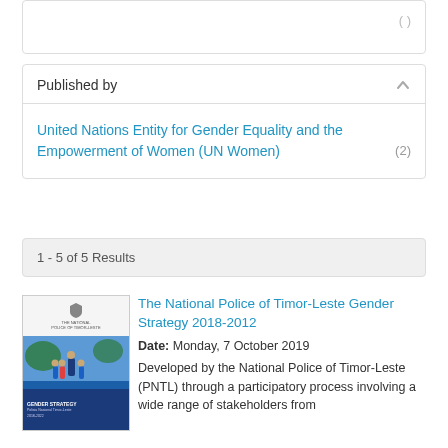Published by
United Nations Entity for Gender Equality and the Empowerment of Women (UN Women) (2)
1 - 5 of 5 Results
[Figure (illustration): Thumbnail cover image of the National Police of Timor-Leste Gender Strategy document showing police officers and children]
The National Police of Timor-Leste Gender Strategy 2018-2012
Date: Monday, 7 October 2019
Developed by the National Police of Timor-Leste (PNTL) through a participatory process involving a wide range of stakeholders from